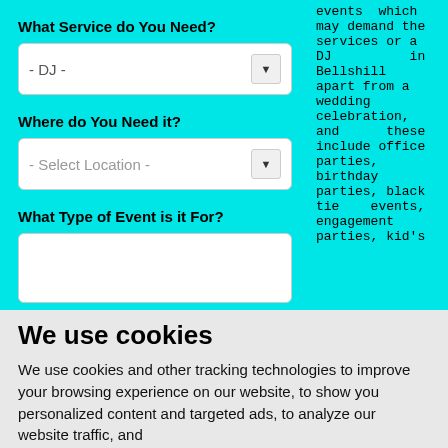What Service do You Need?
- DJ -
Where do You Need it?
- Select Location -
What Type of Event is it For?
events which may demand the services or a DJ in Bellshill apart from a wedding celebration, and these include office parties, birthday parties, black tie events, engagement parties, kid's
We use cookies
We use cookies and other tracking technologies to improve your browsing experience on our website, to show you personalized content and targeted ads, to analyze our website traffic, and